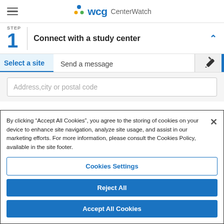WCG CenterWatch
STEP 1 Connect with a study center
Select a site | Send a message
Address, city or postal code
By clicking "Accept All Cookies", you agree to the storing of cookies on your device to enhance site navigation, analyze site usage, and assist in our marketing efforts. For more information, please consult the Cookies Policy, available in the site footer.
Cookies Settings
Reject All
Accept All Cookies